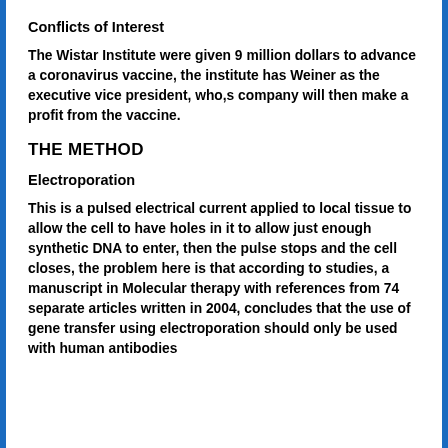Conflicts of Interest
The Wistar Institute were given 9 million dollars to advance a coronavirus vaccine, the institute has Weiner as the executive vice president, who,s company will then make a profit from the vaccine.
THE METHOD
Electroporation
This is a pulsed electrical current applied to local tissue to allow the cell to have holes in it to allow just enough synthetic DNA to enter, then the pulse stops and the cell closes, the problem here is that according to studies, a manuscript in Molecular therapy with references from 74 separate articles written in 2004, concludes that the use of gene transfer using electroporation should only be used with human antibodies